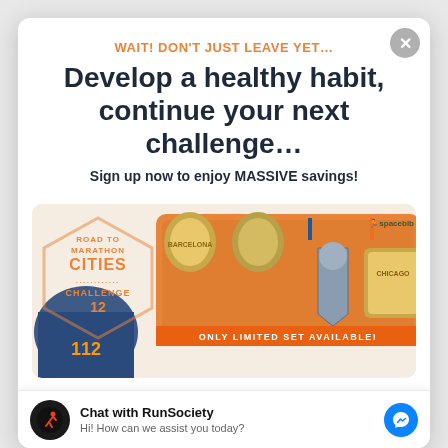WAIT! DON'T JUST LEAVE YET…
Develop a healthy habit, continue your next challenge…
Sign up now to enjoy MASSIVE savings!
[Figure (infographic): Road to Marathon Cities Challenge 12 promotional banner showing running medals and a jersey, with text 'ONLY LIMITED SET AVAILABLE!' on an orange background, featuring a spacebib logo.]
Chat with RunSociety
Hi! How can we assist you today?